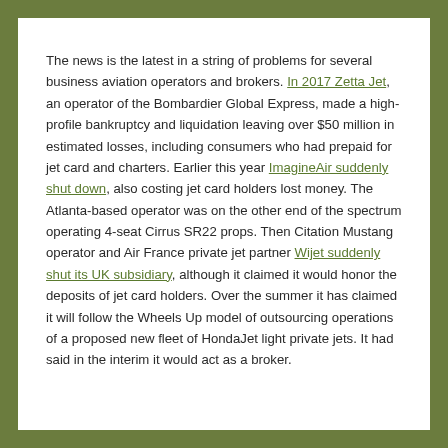The news is the latest in a string of problems for several business aviation operators and brokers. In 2017 Zetta Jet, an operator of the Bombardier Global Express, made a high-profile bankruptcy and liquidation leaving over $50 million in estimated losses, including consumers who had prepaid for jet card and charters. Earlier this year ImagineAir suddenly shut down, also costing jet card holders lost money. The Atlanta-based operator was on the other end of the spectrum operating 4-seat Cirrus SR22 props. Then Citation Mustang operator and Air France private jet partner Wijet suddenly shut its UK subsidiary, although it claimed it would honor the deposits of jet card holders. Over the summer it has claimed it will follow the Wheels Up model of outsourcing operations of a proposed new fleet of HondaJet light private jets. It had said in the interim it would act as a broker.